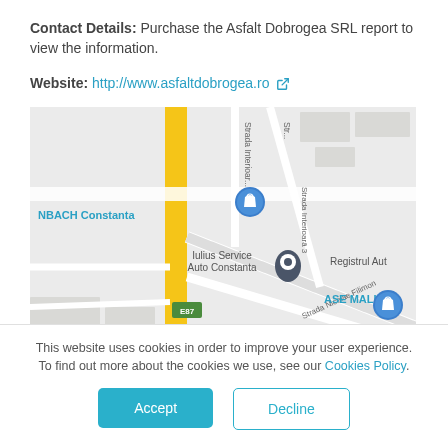Contact Details: Purchase the Asfalt Dobrogea SRL report to view the information.
Website: http://www.asfaltdobrogea.ro
[Figure (map): Google Maps screenshot showing Constanta area with markers for Iulius Service Auto Constanta, ASE MALL, NBACH Constanta (partially visible), and Registrul Auto. Road E87 is visible as a yellow line.]
This website uses cookies in order to improve your user experience. To find out more about the cookies we use, see our Cookies Policy.
Accept
Decline